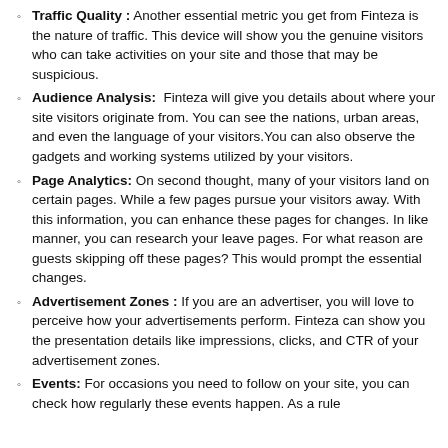Traffic Quality : Another essential metric you get from Finteza is the nature of traffic. This device will show you the genuine visitors who can take activities on your site and those that may be suspicious.
Audience Analysis: Finteza will give you details about where your site visitors originate from. You can see the nations, urban areas, and even the language of your visitors.You can also observe the gadgets and working systems utilized by your visitors.
Page Analytics: On second thought, many of your visitors land on certain pages. While a few pages pursue your visitors away. With this information, you can enhance these pages for changes. In like manner, you can research your leave pages. For what reason are guests skipping off these pages? This would prompt the essential changes.
Advertisement Zones : If you are an advertiser, you will love to perceive how your advertisements perform. Finteza can show you the presentation details like impressions, clicks, and CTR of your advertisement zones.
Events: For occasions you need to follow on your site, you can check how regularly these events happen. As a rule